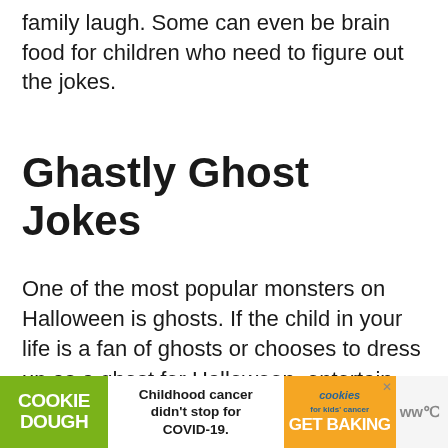family laugh. Some can even be brain food for children who need to figure out the jokes.
Ghastly Ghost Jokes
One of the most popular monsters on Halloween is ghosts. If the child in your life is a fan of ghosts or chooses to dress up as a ghost for Halloween, entertain them with these spooky jokes.
[Figure (other): Advertisement banner: Cookie Dough / Childhood cancer didn't stop for COVID-19. / cookies for kids' cancer GET BAKING]